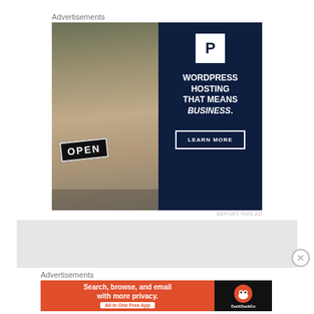Advertisements
[Figure (illustration): WordPress hosting advertisement. Left half shows a photo of a smiling woman holding an OPEN sign. Right half is dark navy blue with a P logo, text reading WORDPRESS HOSTING THAT MEANS BUSINESS. and a LEARN MORE button.]
REPORT THIS AD
[Figure (other): Gray placeholder advertisement block with a close/dismiss button (X circle) on the right.]
Advertisements
[Figure (illustration): DuckDuckGo advertisement. Orange left section reads: Search, browse, and email with more privacy. All in One Free App. Black right section shows DuckDuckGo logo and name.]